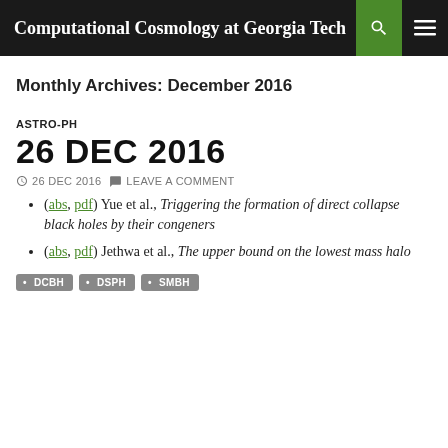Computational Cosmology at Georgia Tech
Monthly Archives: December 2016
ASTRO-PH
26 DEC 2016
26 DEC 2016   LEAVE A COMMENT
(abs, pdf) Yue et al., Triggering the formation of direct collapse black holes by their congeners
(abs, pdf) Jethwa et al., The upper bound on the lowest mass halo
DCBH   DSPH   SMBH